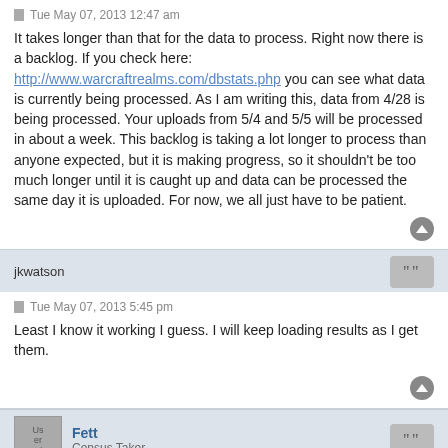Tue May 07, 2013 12:47 am
It takes longer than that for the data to process. Right now there is a backlog. If you check here: http://www.warcraftrealms.com/dbstats.php you can see what data is currently being processed. As I am writing this, data from 4/28 is being processed. Your uploads from 5/4 and 5/5 will be processed in about a week. This backlog is taking a lot longer to process than anyone expected, but it is making progress, so it shouldn't be too much longer until it is caught up and data can be processed the same day it is uploaded. For now, we all just have to be patient.
jkwatson
Tue May 07, 2013 5:45 pm
Least I know it working I guess. I will keep loading results as I get them.
Fett
Census Taker